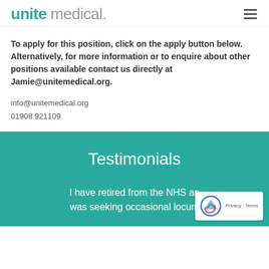unite medical.
To apply for this position, click on the apply button below. Alternatively, for more information or to enquire about other positions available contact us directly at Jamie@unitemedical.org.
info@unitemedical.org
01908 921109
Testimonials
I have retired from the NHS an was seeking occasional locum